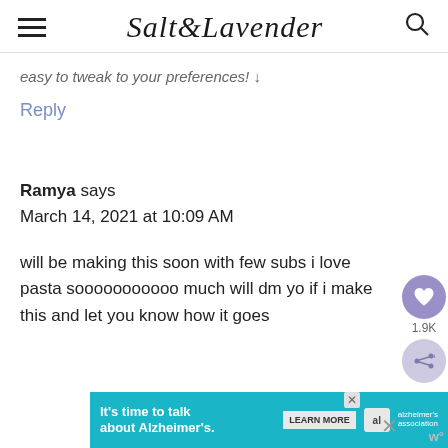Salt & Lavender
easy to tweak to your preferences! ↓
Reply
Ramya says
March 14, 2021 at 10:09 AM
will be making this soon with few subs i love pasta sooooooooo much will dm you if i make this and let you know how it goes
[Figure (infographic): Advertisement banner: It's time to talk about Alzheimer's. with Learn More button and Alzheimer's Association logo]